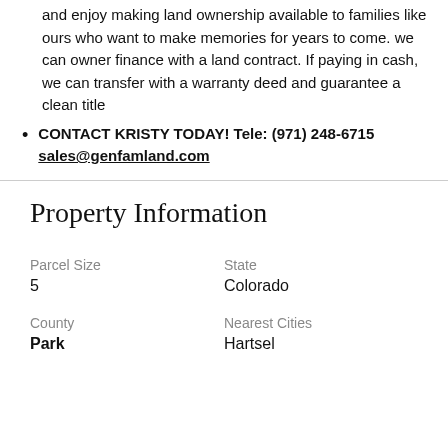and enjoy making land ownership available to families like ours who want to make memories for years to come. we can owner finance with a land contract. If paying in cash, we can transfer with a warranty deed and guarantee a clean title
CONTACT KRISTY TODAY! Tele: (971) 248-6715 sales@genfamland.com
Property Information
| Parcel Size | State | County | Nearest Cities |
| --- | --- | --- | --- |
| 5 | Colorado | Park | Hartsel |